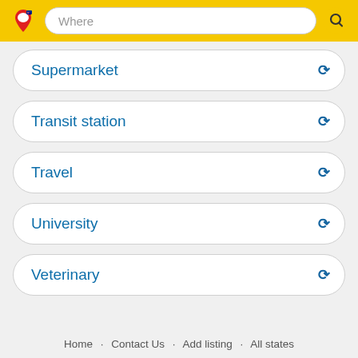Where [search bar with logo and search icon]
Supermarket
Transit station
Travel
University
Veterinary
Home · Contact Us · Add listing · All states